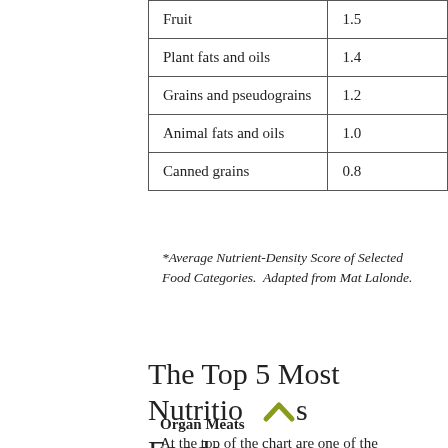| Fruit | 1.5 |
| Plant fats and oils | 1.4 |
| Grains and pseudograins | 1.2 |
| Animal fats and oils | 1.0 |
| Canned grains | 0.8 |
*Average Nutrient-Density Score of Selected Food Categories.  Adapted from Mat Lalonde.
The Top 5 Most Nutritious Foods
Organ Meats
At the top of the chart are one of the